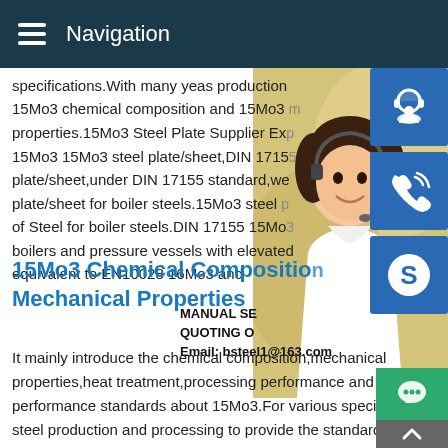Navigation
specifications.With many yeas production 15Mo3 chemical composition and 15Mo3 mechanical properties.15Mo3 Steel Plate Supplier Exp 15Mo3 15Mo3 steel plate/sheet,DIN 17155 plate/sheet,under DIN 17155 standard,we plate/sheet for boiler steels.15Mo3 steel p of Steel for boiler steels.DIN 17155 15Mo3 boilers and pressure vessels with elevated equivalent to EN10028 16Mo3 and
15Mo3 Chemical Composition Mechanical Properties
It mainly introduce the chemical composition,mechanical properties,heat treatment,processing performance and performance standards about 15Mo3.For various specifications steel production and processing to provide the standard production,we have the professional experience for 15Mo3.W